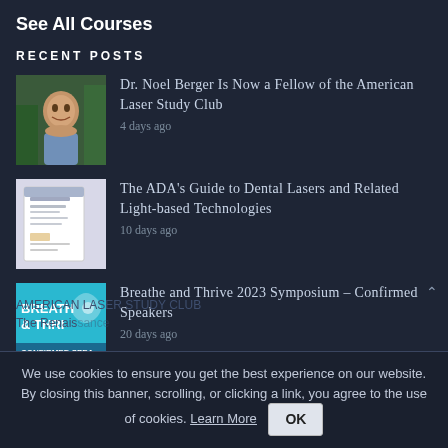See All Courses
RECENT POSTS
Dr. Noel Berger Is Now a Fellow of the American Laser Study Club
4 days ago
The ADA's Guide to Dental Lasers and Related Light-based Technologies
10 days ago
Breathe and Thrive 2023 Symposium – Confirmed Speakers
20 days ago
We use cookies to ensure you get the best experience on our website. By closing this banner, scrolling, or clicking a link, you agree to the use of cookies. Learn More  OK